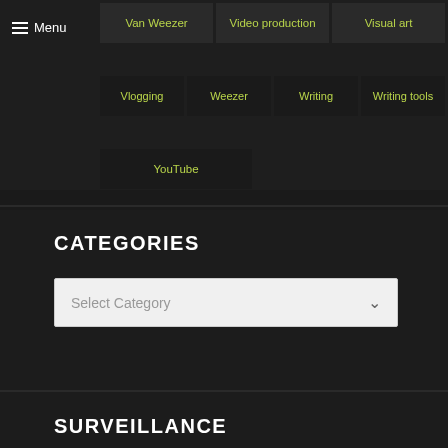Menu
Van Weezer
Video production
Visual art
Vlogging
Weezer
Writing
Writing tools
YouTube
CATEGORIES
Select Category
SURVEILLANCE